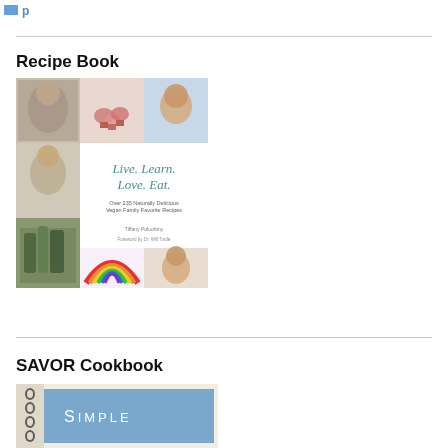Recipe Book
[Figure (photo): Book cover for 'Live. Learn. Love. Eat.' - Over 235 Naturally Delicious Vegan Family Favorite Recipes by Tiffany Poluohtny, Foreword by Dr. Will Tuttle. Cover shows a collage of photos of children eating and food dishes.]
SAVOR Cookbook
[Figure (photo): Partial view of the SAVOR cookbook cover showing a spiral-bound book with 'Simple' text visible on a blue background.]